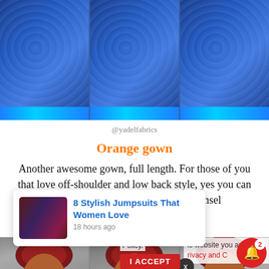[Figure (photo): Three panels showing blue sequined/lace fabric gown details from yadelfabrics]
@yadelfabrics
Orange gown
Another awesome gown, full length. For those of you that love off-shoulder and low back style, yes you can have it all in a style just like this damsel
[Figure (photo): Three panels of a woman wearing a dark red/maroon gele (headwrap) and orange gown, standing near a vehicle]
8 Stylish Jumpsuits That Women Love
18 hours ago
is website you are
rivacy and C
Policy.
I Accept